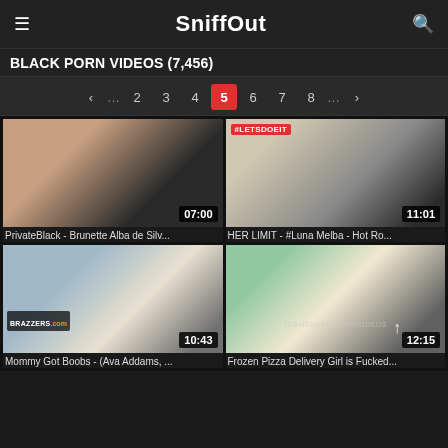SniffOut
BLACK PORN VIDEOS (7,456)
‹ … 2 3 4 5 6 7 8 … ›
[Figure (screenshot): Video thumbnail for PrivateBlack - Brunette Alba de Silv... with duration 07:00]
PrivateBlack - Brunette Alba de Silv...
[Figure (screenshot): Video thumbnail tagged #LETSDOEIT for HER LIMIT - #Luna Melba - Hot Ro... with duration 11:01]
HER LIMIT - #Luna Melba - Hot Ro...
[Figure (screenshot): Video thumbnail with Brazzers watermark for Mommy Got Boobs - (Ava Addams, ... with duration 10:43]
Mommy Got Boobs - (Ava Addams, ...
[Figure (screenshot): Video thumbnail with TEAMSKEET watermark for Frozen Pizza Delivery Girl is Fucked... with duration 12:15]
Frozen Pizza Delivery Girl is Fucked...